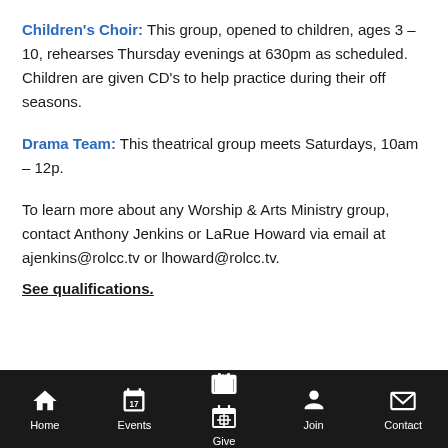Children's Choir: This group, opened to children, ages 3 – 10, rehearses Thursday evenings at 630pm as scheduled.  Children are given CD's to help practice during their off seasons.
Drama Team: This theatrical group meets Saturdays, 10am – 12p.
To learn more about any Worship & Arts Ministry group, contact Anthony Jenkins or LaRue Howard via email at ajenkins@rolcc.tv or lhoward@rolcc.tv.
See qualifications.
Home  Events  Give  Join  Contact